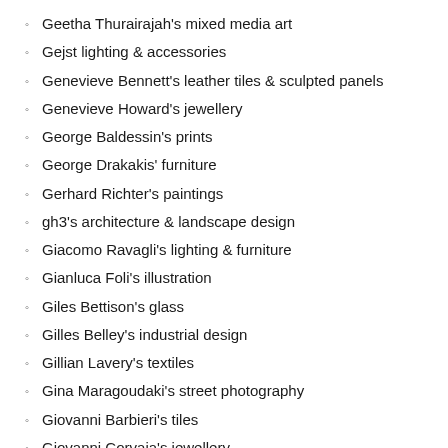Geetha Thurairajah's mixed media art
Gejst lighting & accessories
Genevieve Bennett's leather tiles & sculpted panels
Genevieve Howard's jewellery
George Baldessin's prints
George Drakakis' furniture
Gerhard Richter's paintings
gh3's architecture & landscape design
Giacomo Ravagli's lighting & furniture
Gianluca Foli's illustration
Giles Bettison's glass
Gilles Belley's industrial design
Gillian Lavery's textiles
Gina Maragoudaki's street photography
Giovanni Barbieri's tiles
Giovanni Corvaja's jewellery
Giraldi Associates Architects' headquarters